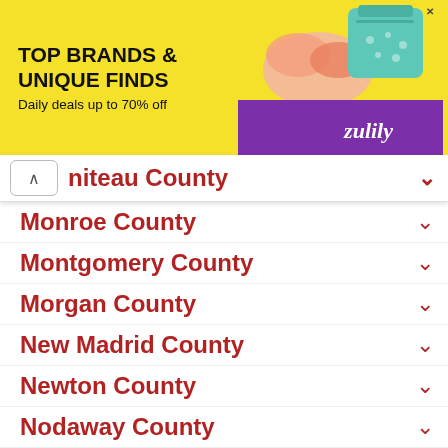[Figure (other): Advertisement banner for Zulily: TOP BRANDS & UNIQUE FINDS, Daily deals up to 70% off, with product images and purple Zulily branding strip]
niteau County
Monroe County
Montgomery County
Morgan County
New Madrid County
Newton County
Nodaway County
Oregon County
Osage County
Ozark County
Pemiscot County